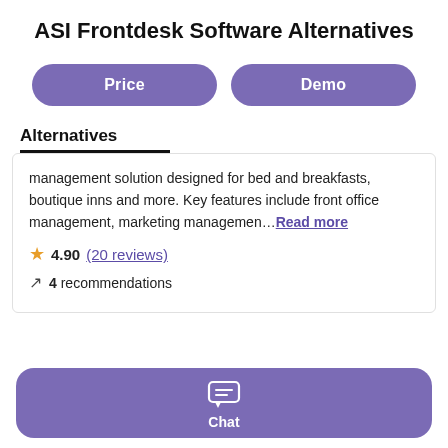ASI Frontdesk Software Alternatives
Price
Demo
Alternatives
management solution designed for bed and breakfasts, boutique inns and more. Key features include front office management, marketing managemen… Read more
4.90 (20 reviews)
4 recommendations
Chat